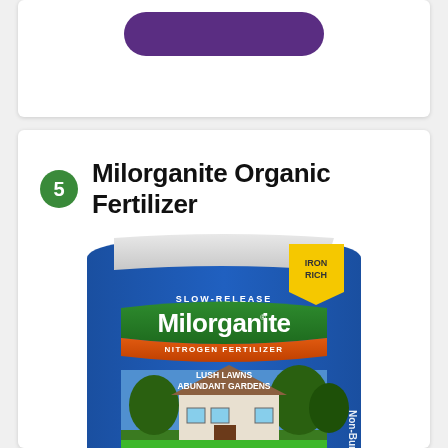[Figure (other): Purple rounded button/pill shape at top of white card]
5 Milorganite Organic Fertilizer
[Figure (photo): Milorganite Organic Nitrogen Fertilizer bag – blue bag with green and orange label showing a house with lush lawn. Text reads: SLOW-RELEASE, Milorganite, NITROGEN FERTILIZER, LUSH LAWNS, ABUNDANT GARDENS, TRUSTED FOR OVER 90 YEARS, Iron Rich, Non-Burning. Bottom text: FOR BETTER...]